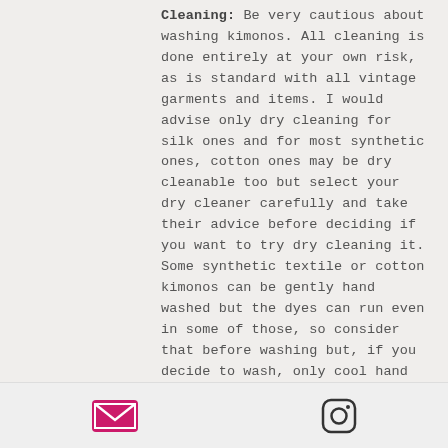Cleaning: Be very cautious about washing kimonos. All cleaning is done entirely at your own risk, as is standard with all vintage garments and items. I would advise only dry cleaning for silk ones and for most synthetic ones, cotton ones may be dry cleanable too but select your dry cleaner carefully and take their advice before deciding if you want to try dry cleaning it. Some synthetic textile or cotton kimonos can be gently hand washed but the dyes can run even in some of those, so consider that before washing but, if you decide to wash, only cool hand wash very gently, do not rub, just gently squeeze the water through it a few times, do not wring. Use a detergent made for colours, not one for whites, as they contain bleaching agents. Do not spin dry it, as it...
[Figure (other): Email icon (envelope, pink/magenta fill) and Instagram icon (camera outline, black) in the page footer bar]